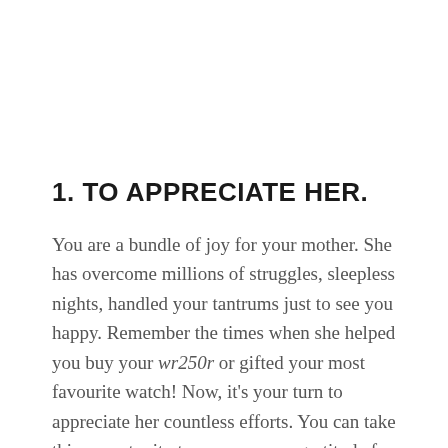1. TO APPRECIATE HER.
You are a bundle of joy for your mother. She has overcome millions of struggles, sleepless nights, handled your tantrums just to see you happy. Remember the times when she helped you buy your wr250r or gifted your most favourite watch! Now, it's your turn to appreciate her countless efforts. You can take this opportunity to express your gratitude for